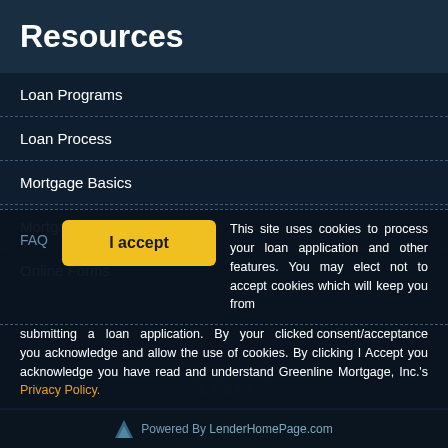Resources
Loan Programs
Loan Process
Mortgage Basics
Mortgage Calculators
Online Forms
FAQ
I accept
This site uses cookies to process your loan application and other features. You may elect not to accept cookies which will keep you from submitting a loan application. By your clicked consent/acceptance you acknowledge and allow the use of cookies. By clicking I Accept you acknowledge you have read and understand Greenline Mortgage, Inc.'s Privacy Policy.
Powered By LenderHomePage.com